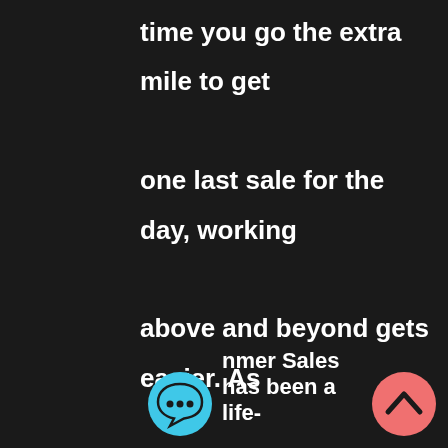time you go the extra mile to get one last sale for the day, working above and beyond gets easier. As much as it might feel like your brain, ego and confidence are being torn, remember that this is genetically how human beings level up.
nmer Sales has been a life-